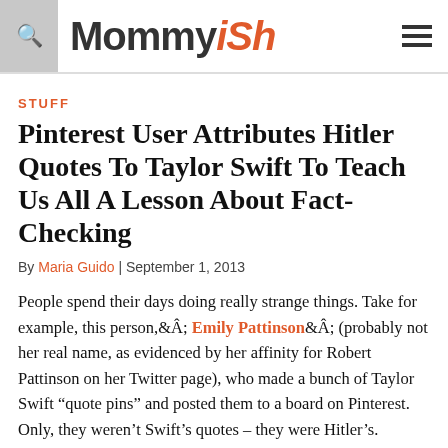Mommyish
STUFF
Pinterest User Attributes Hitler Quotes To Taylor Swift To Teach Us All A Lesson About Fact-Checking
By Maria Guido | September 1, 2013
People spend their days doing really strange things. Take for example, this person, Emily Pattinson (probably not her real name, as evidenced by her affinity for Robert Pattinson on her Twitter page), who made a bunch of Taylor Swift “quote pins” and posted them to a board on Pinterest. Only, they weren’t Swift’s quotes – they were Hitler’s. Apparently the quotes of one of the worst human beings who ever lived could have believably